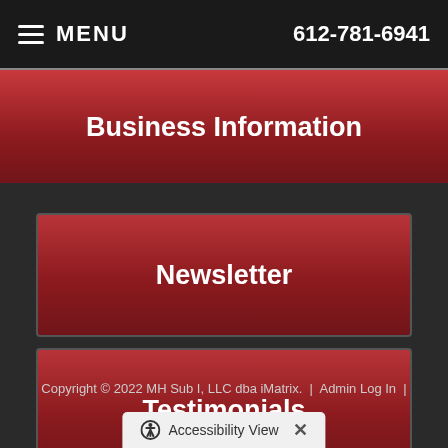MENU | 612-781-6941
Business Information
Newsletter
Testimonials
[Figure (logo): Instagram and Facebook social media icons (white rounded square buttons)]
Copyright © 2022 MH Sub I, LLC dba iMatrix.  |  Admin Log In  |
Accessibility View